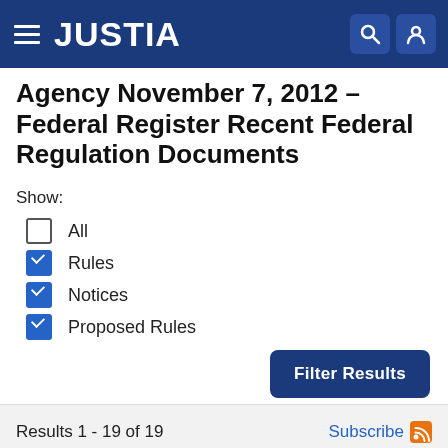JUSTIA
Agency November 7, 2012 – Federal Register Recent Federal Regulation Documents
Show:
All
Rules
Notices
Proposed Rules
Filter Results
Results 1 - 19 of 19   Subscribe